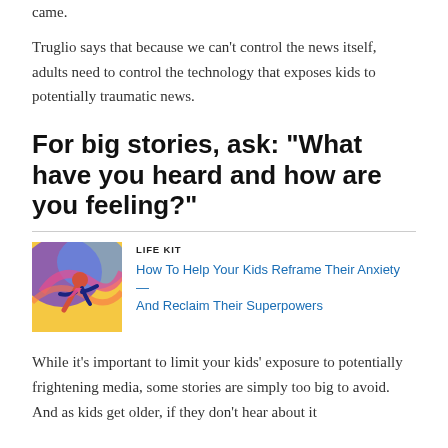came.
Truglio says that because we can't control the news itself, adults need to control the technology that exposes kids to potentially traumatic news.
For big stories, ask: "What have you heard and how are you feeling?"
LIFE KIT
How To Help Your Kids Reframe Their Anxiety — And Reclaim Their Superpowers
While it's important to limit your kids' exposure to potentially frightening media, some stories are simply too big to avoid. And as kids get older, if they don't hear about it